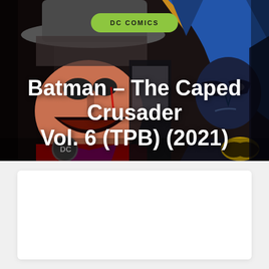[Figure (illustration): Comic book cover artwork showing two characters facing each other — a villain in a hat (with pizza slice visible on hat) confronting Batman in his blue cowl and costume with Batman logo on chest, and DC logo visible. Dark moody background.]
DC COMICS
Batman – The Caped Crusader Vol. 6 (TPB) (2021)